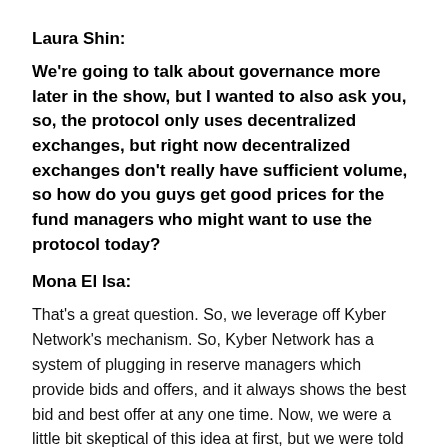Laura Shin:
We're going to talk about governance more later in the show, but I wanted to also ask you, so, the protocol only uses decentralized exchanges, but right now decentralized exchanges don't really have sufficient volume, so how do you guys get good prices for the fund managers who might want to use the protocol today?
Mona El Isa:
That's a great question. So, we leverage off Kyber Network's mechanism. So, Kyber Network has a system of plugging in reserve managers which provide bids and offers, and it always shows the best bid and best offer at any one time. Now, we were a little bit skeptical of this idea at first, but we were told by Loi Luu that the...